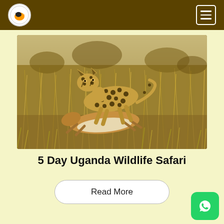Navigation bar with logo and hamburger menu
[Figure (photo): A cheetah standing over a downed gazelle/antelope in dry savanna grassland with golden-brown grasses in the background.]
5 Day Uganda Wildlife Safari
Read More